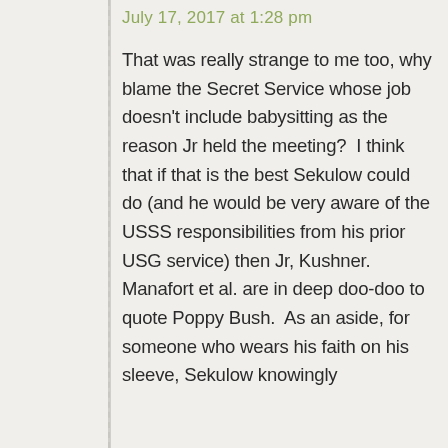July 17, 2017 at 1:28 pm
That was really strange to me too, why blame the Secret Service whose job doesn't include babysitting as the reason Jr held the meeting?  I think that if that is the best Sekulow could do (and he would be very aware of the USSS responsibilities from his prior USG service) then Jr, Kushner. Manafort et al. are in deep doo-doo to quote Poppy Bush.  As an aside, for someone who wears his faith on his sleeve, Sekulow knowingly